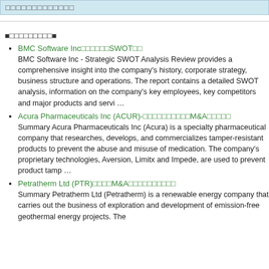□□□□□□□□□□□□□
■□□□□□□□□□■
BMC Software Inc□□□□□□SWOT□□
BMC Software Inc - Strategic SWOT Analysis Review provides a comprehensive insight into the company's history, corporate strategy, business structure and operations. The report contains a detailed SWOT analysis, information on the company's key employees, key competitors and major products and servi …
Acura Pharmaceuticals Inc (ACUR)-□□□□□□□□□□M&A□□□□□
Summary Acura Pharmaceuticals Inc (Acura) is a specialty pharmaceutical company that researches, develops, and commercializes tamper-resistant products to prevent the abuse and misuse of medication. The company's proprietary technologies, Aversion, Limitx and Impede, are used to prevent product tamp …
Petratherm Ltd (PTR)□□□□M&A□□□□□□□□□□
Summary Petratherm Ltd (Petratherm) is a renewable energy company that carries out the business of exploration and development of emission-free geothermal energy projects. The